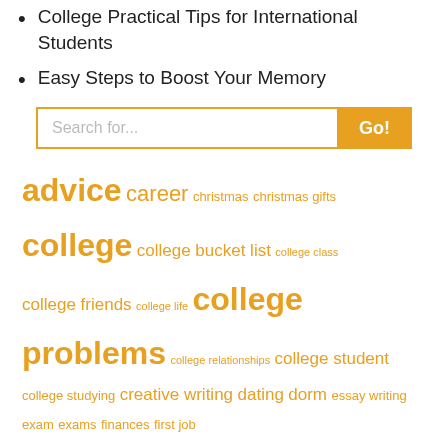College Practical Tips for International Students
Easy Steps to Boost Your Memory
[Figure (other): Search bar with placeholder 'Search for...' and a yellow 'Go!' button]
advice career christmas christmas gifts college college bucket list college class college friends college life college problems college relationships college student college studying creative writing dating dorm essay writing exam exams finances first job fun guide halloween health how to how to write job love party ideas productivity relationship resume writing skills student study for finals studying studying abroad study tips super bowl thanksgiving tips travel valentines day writing tips